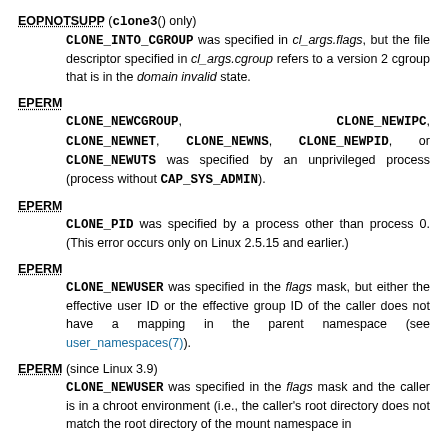EOPNOTSUPP (clone3() only)
    CLONE_INTO_CGROUP was specified in cl_args.flags, but the file descriptor specified in cl_args.cgroup refers to a version 2 cgroup that is in the domain invalid state.
EPERM
    CLONE_NEWCGROUP, CLONE_NEWIPC, CLONE_NEWNET, CLONE_NEWNS, CLONE_NEWPID, or CLONE_NEWUTS was specified by an unprivileged process (process without CAP_SYS_ADMIN).
EPERM
    CLONE_PID was specified by a process other than process 0. (This error occurs only on Linux 2.5.15 and earlier.)
EPERM
    CLONE_NEWUSER was specified in the flags mask, but either the effective user ID or the effective group ID of the caller does not have a mapping in the parent namespace (see user_namespaces(7)).
EPERM (since Linux 3.9)
    CLONE_NEWUSER was specified in the flags mask and the caller is in a chroot environment (i.e., the caller's root directory does not match the root directory of the mount namespace in